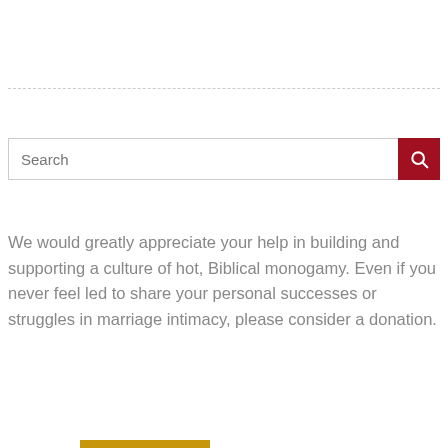[Figure (other): Horizontal dashed separator line]
[Figure (other): Search bar with dark red search button containing a magnifying glass icon]
We would greatly appreciate your help in building and supporting a culture of hot, Biblical monogamy. Even if you never feel led to share your personal successes or struggles in marriage intimacy, please consider a donation.